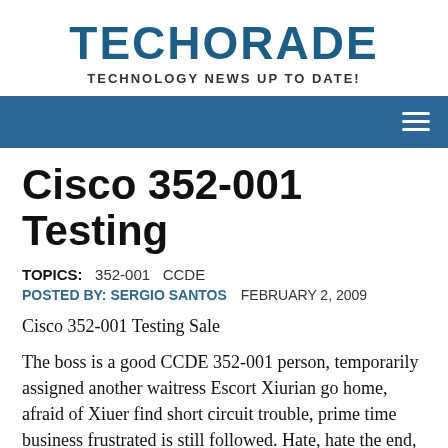TECHORADE
TECHNOLOGY NEWS UP TO DATE!
[Figure (other): Blue navigation bar with hamburger menu icon on right]
Cisco 352-001 Testing
TOPICS:   352-001   CCDE
POSTED BY: SERGIO SANTOS   FEBRUARY 2, 2009
Cisco 352-001 Testing Sale
The boss is a good CCDE 352-001 person, temporarily assigned another waitress Escort Xiurian go home, afraid of Xiuer find short circuit trouble, prime time business frustrated is still followed. Hate, hate the end, love, love to the